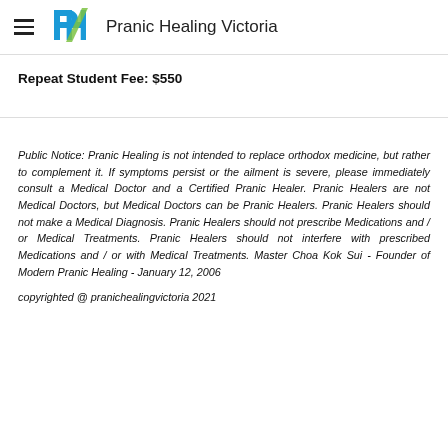Pranic Healing Victoria
Repeat Student Fee: $550
Public Notice: Pranic Healing is not intended to replace orthodox medicine, but rather to complement it. If symptoms persist or the ailment is severe, please immediately consult a Medical Doctor and a Certified Pranic Healer. Pranic Healers are not Medical Doctors, but Medical Doctors can be Pranic Healers. Pranic Healers should not make a Medical Diagnosis. Pranic Healers should not prescribe Medications and / or Medical Treatments. Pranic Healers should not interfere with prescribed Medications and / or with Medical Treatments. Master Choa Kok Sui - Founder of Modern Pranic Healing - January 12, 2006
copyrighted @ pranichealingvictoria 2021